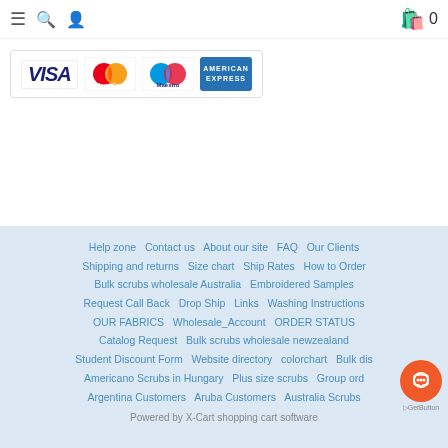≡ 🔍 👤  [cart icon] 0
[Figure (logo): Payment method logos: VISA, MasterCard, Maestro, American Express]
Help zone  Contact us  About our site  FAQ  Our Clients  Shipping and returns  Size chart  Ship Rates  How to Order  Bulk scrubs wholesale Australia  Embroidered Samples  Request Call Back  Drop Ship  Links  Washing Instructions  OUR FABRICS  Wholesale_Account  ORDER STATUS  Catalog Request  Bulk scrubs wholesale newzealand  Student Discount Form  Website directory  colorchart  Bulk dis...  Americano Scrubs in Hungary  Plus size scrubs  Group ord...  Argentina Customers  Aruba Customers  Australia Scrubs...
Powered by X-Cart shopping cart software